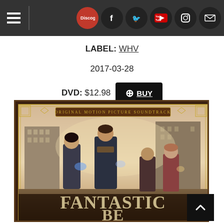Discogs navigation bar with hamburger menu, Discogs logo, Facebook, Twitter, YouTube, Instagram, and Mail icons
LABEL: WHV
2017-03-28
DVD: $12.98 + BUY
[Figure (photo): Fantastic Beasts and Where to Find Them - Original Motion Picture Soundtrack album cover showing four characters standing in a city street scene with the title text visible at the bottom]